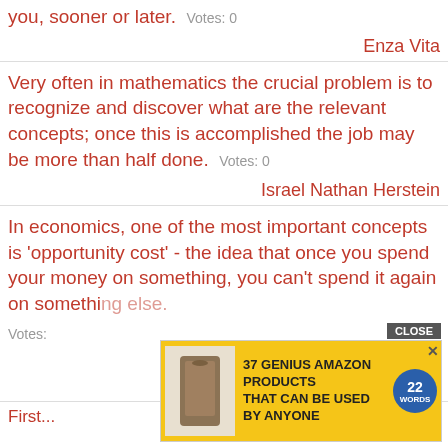you, sooner or later. Votes: 0
Enza Vita
Very often in mathematics the crucial problem is to recognize and discover what are the relevant concepts; once this is accomplished the job may be more than half done. Votes: 0
Israel Nathan Herstein
In economics, one of the most important concepts is 'opportunity cost' - the idea that once you spend your money on something, you can't spend it again on something else. Votes:
Malcolm Turnbull
[Figure (screenshot): Advertisement banner: '37 GENIUS AMAZON PRODUCTS THAT CAN BE USED BY ANYONE' on yellow background with a product image and circular badge, with CLOSE button]
First...